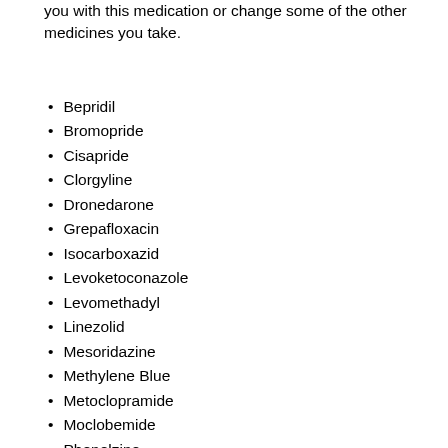you with this medication or change some of the other medicines you take.
Bepridil
Bromopride
Cisapride
Clorgyline
Dronedarone
Grepafloxacin
Isocarboxazid
Levoketoconazole
Levomethadyl
Linezolid
Mesoridazine
Methylene Blue
Metoclopramide
Moclobemide
Phenelzine